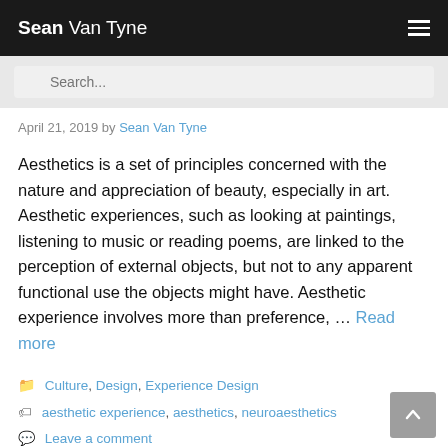Sean Van Tyne
April 21, 2019 by Sean Van Tyne
Aesthetics is a set of principles concerned with the nature and appreciation of beauty, especially in art. Aesthetic experiences, such as looking at paintings, listening to music or reading poems, are linked to the perception of external objects, but not to any apparent functional use the objects might have. Aesthetic experience involves more than preference, … Read more
Culture, Design, Experience Design
aesthetic experience, aesthetics, neuroaesthetics
Leave a comment